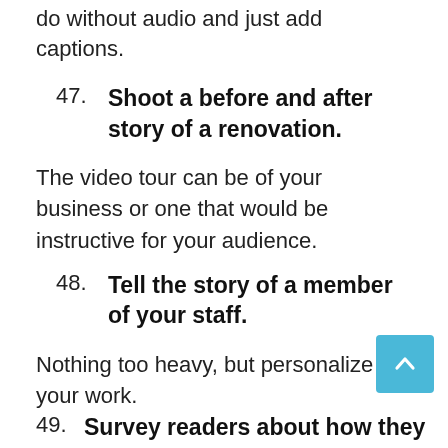do without audio and just add captions.
47. Shoot a before and after story of a renovation.
The video tour can be of your business or one that would be instructive for your audience.
48. Tell the story of a member of your staff.
Nothing too heavy, but personalize your work.
49. Survey readers about how they